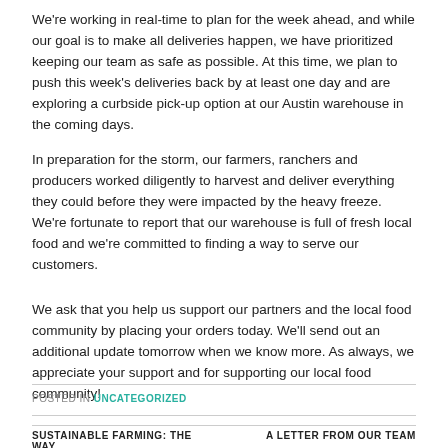We're working in real-time to plan for the week ahead, and while our goal is to make all deliveries happen, we have prioritized keeping our team as safe as possible. At this time, we plan to push this week's deliveries back by at least one day and are exploring a curbside pick-up option at our Austin warehouse in the coming days.
In preparation for the storm, our farmers, ranchers and producers worked diligently to harvest and deliver everything they could before they were impacted by the heavy freeze. We're fortunate to report that our warehouse is full of fresh local food and we're committed to finding a way to serve our customers.
We ask that you help us support our partners and the local food community by placing your orders today. We'll send out an additional update tomorrow when we know more. As always, we appreciate your support and for supporting our local food community!
POSTED IN UNCATEGORIZED
SUSTAINABLE FARMING: THE WAY   A LETTER FROM OUR TEAM